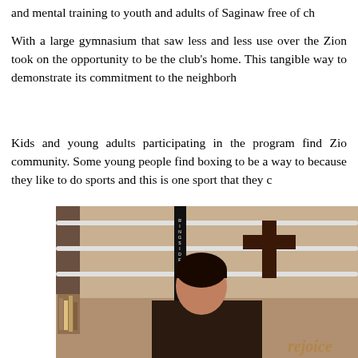and mental training to youth and adults of Saginaw free of ch
With a large gymnasium that saw less and less use over the Zion took on the opportunity to be the club’s home. This tangible way to demonstrate its commitment to the neighborh
Kids and young adults participating in the program find Zio community. Some young people find boxing to be a way to because they like to do sports and this is one sport that they c
[Figure (photo): A young man standing in front of a boxing ring inside what appears to be a church gymnasium. Visible are the white boxing ring ropes, a vertical black post with 'RINGSIDE' text, and a dark wooden cross on the brownish wall behind. The young man has dark hair and is wearing a dark jacket.]